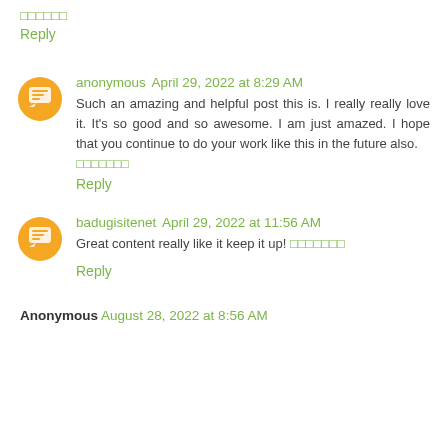🔲🔲🔲🔲🔲🔲
Reply
anonymous  April 29, 2022 at 8:29 AM
Such an amazing and helpful post this is. I really really love it. It's so good and so awesome. I am just amazed. I hope that you continue to do your work like this in the future also.
🔲🔲🔲🔲🔲🔲🔲
Reply
badugisitenet  April 29, 2022 at 11:56 AM
Great content really like it keep it up! 🔲🔲🔲🔲🔲🔲🔲
Reply
Anonymous  August 28, 2022 at 8:56 AM